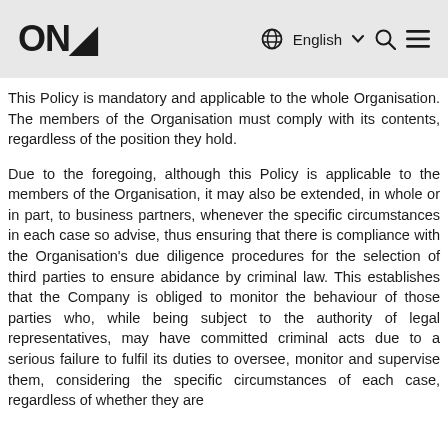ONA | English
This Policy is mandatory and applicable to the whole Organisation. The members of the Organisation must comply with its contents, regardless of the position they hold.
Due to the foregoing, although this Policy is applicable to the members of the Organisation, it may also be extended, in whole or in part, to business partners, whenever the specific circumstances in each case so advise, thus ensuring that there is compliance with the Organisation's due diligence procedures for the selection of third parties to ensure abidance by criminal law. This establishes that the Company is obliged to monitor the behaviour of those parties who, while being subject to the authority of legal representatives, may have committed criminal acts due to a serious failure to fulfil its duties to oversee, monitor and supervise them, considering the specific circumstances of each case, regardless of whether they are